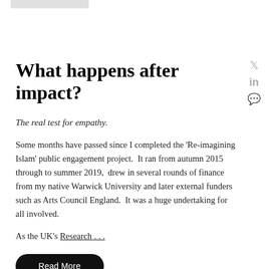What happens after impact?
The real test for empathy.
Some months have passed since I completed the 'Re-imagining Islam' public engagement project.  It ran from autumn 2015 through to summer 2019,  drew in several rounds of finance from my native Warwick University and later external funders such as Arts Council England.  It was a huge undertaking for all involved.
As the UK's Research . . .
Read More